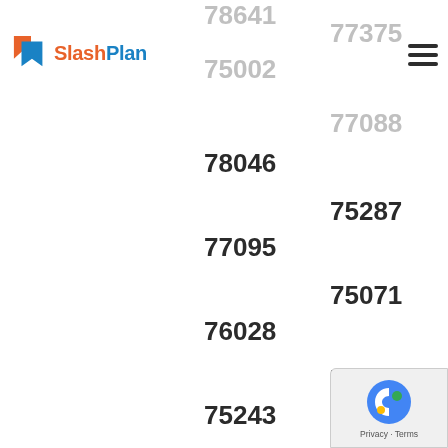[Figure (logo): SlashPlan logo with orange and blue icon and text]
78641
75002
77375
77088
78046
75287
77095
75071
76028
75007
75243
78207
75067
77082
78596
77089
77346
75061
78045
77469
77845
78247
75068
75035